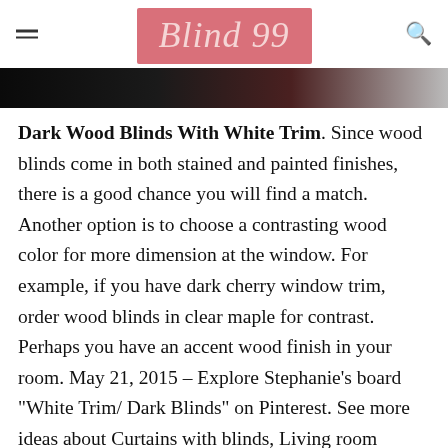Blind 99
[Figure (photo): Partial photo strip showing dark background transitioning from black to dark red and light tones]
Dark Wood Blinds With White Trim. Since wood blinds come in both stained and painted finishes, there is a good chance you will find a match. Another option is to choose a contrasting wood color for more dimension at the window. For example, if you have dark cherry window trim, order wood blinds in clear maple for contrast. Perhaps you have an accent wood finish in your room. May 21, 2015 – Explore Stephanie's board "White Trim/ Dark Blinds" on Pinterest. See more ideas about Curtains with blinds, Living room